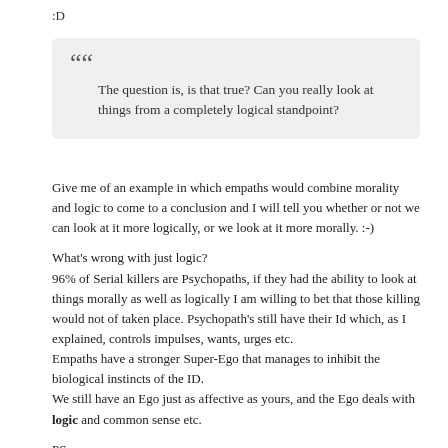:D
“
The question is, is that true? Can you really look at things from a completely logical standpoint?
Give me of an example in which empaths would combine morality and logic to come to a conclusion and I will tell you whether or not we can look at it more logically, or we look at it more morally. :-)
What's wrong with just logic?
96% of Serial killers are Psychopaths, if they had the ability to look at things morally as well as logically I am willing to bet that those killing would not of taken place. Psychopath's still have their Id which, as I explained, controls impulses, wants, urges etc.
Empaths have a stronger Super-Ego that manages to inhibit the biological instincts of the ID.
We still have an Ego just as affective as yours, and the Ego deals with logic and common sense etc.
PS.
I wasn't saying that all psychopaths are serial killers or "evil" I simply meant that psychopaths would be better of if they had our Moral Reasoning.